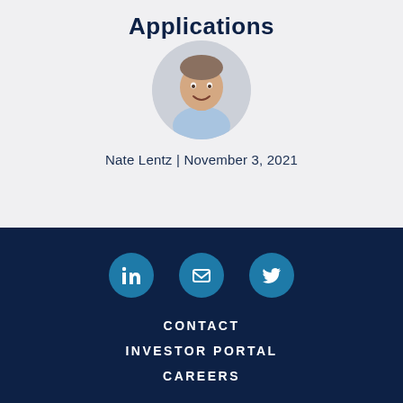Applications
[Figure (photo): Circular headshot photo of Nate Lentz, a man in a light blue shirt, smiling against a light background]
Nate Lentz | November 3, 2021
[Figure (infographic): Three circular social media icon buttons (LinkedIn, Email, Twitter) on dark navy background]
CONTACT
INVESTOR PORTAL
CAREERS